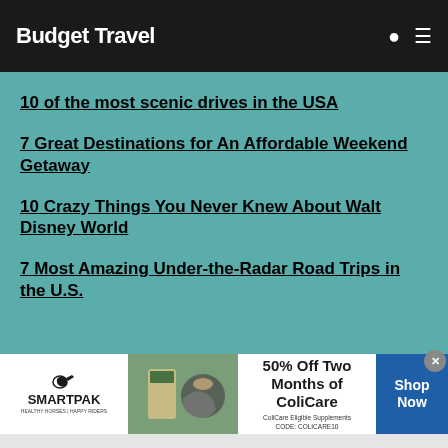Budget Travel
10 of the most scenic drives in the USA
7 Great Destinations for An Affordable Weekend Getaway
10 Crazy Things You Never Knew About Walt Disney World
7 Most Amazing Under-the-Radar Road Trips in the U.S.
COMPANY
[Figure (infographic): SmartPak advertisement banner: 50% Off Two Months of ColiCare, ColiCare Eligible Supplements, CODE: COLICARE10, Shop Now button]